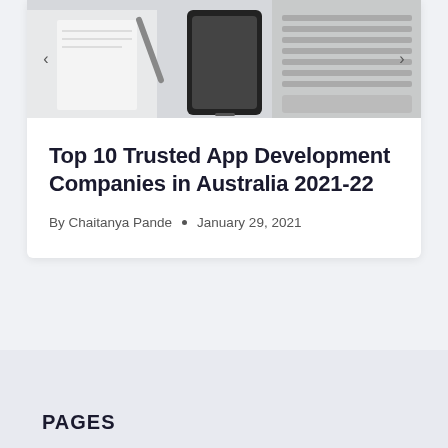[Figure (photo): Photograph of a laptop keyboard with a smartphone and notebook/pen on a desk, used as an article header image]
Top 10 Trusted App Development Companies in Australia 2021-22
By Chaitanya Pande • January 29, 2021
[Figure (other): Carousel navigation dots — 6 dots with the first one filled/active]
PAGES